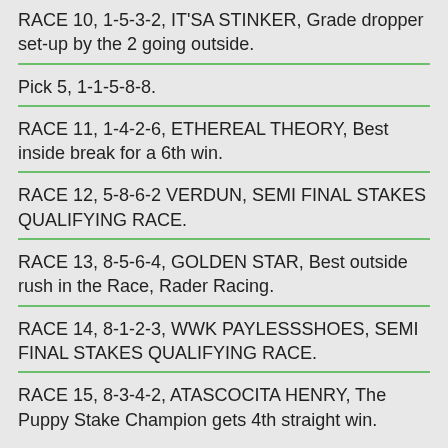RACE 10, 1-5-3-2, IT'SA STINKER, Grade dropper set-up by the 2 going outside.
Pick 5, 1-1-5-8-8.
RACE 11, 1-4-2-6, ETHEREAL THEORY, Best inside break for a 6th win.
RACE 12, 5-8-6-2 VERDUN, SEMI FINAL STAKES QUALIFYING RACE.
RACE 13, 8-5-6-4, GOLDEN STAR, Best outside rush in the Race, Rader Racing.
RACE 14, 8-1-2-3, WWK PAYLESSSHOES, SEMI FINAL STAKES QUALIFYING RACE.
RACE 15, 8-3-4-2, ATASCOCITA HENRY, The Puppy Stake Champion gets 4th straight win.